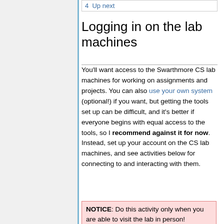4  Up next
Logging in on the lab machines
You'll want access to the Swarthmore CS lab machines for working on assignments and projects. You can also use your own system (optional!) if you want, but getting the tools set up can be difficult, and it's better if everyone begins with equal access to the tools, so I recommend against it for now. Instead, set up your account on the CS lab machines, and see activities below for connecting to and interacting with them.
NOTICE: Do this activity only when you are able to visit the lab in person!